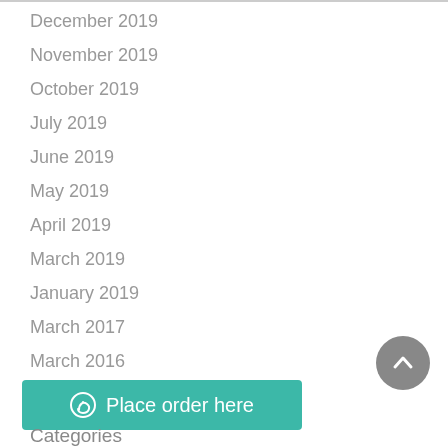December 2019
November 2019
October 2019
July 2019
June 2019
May 2019
April 2019
March 2019
January 2019
March 2017
March 2016
February 2016
Place order here
Categories